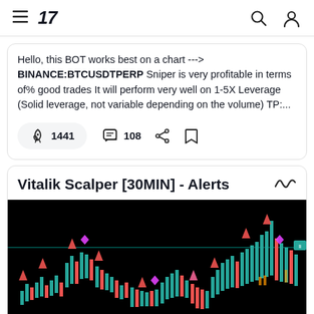TradingView navigation bar with hamburger menu, logo '17', search icon, and user icon
Hello, this BOT works best on a chart --->  BINANCE:BTCUSDTPERP Sniper is very profitable in terms of% good trades It will perform very well on 1-5X Leverage (Solid leverage, not variable depending on the volume) TP:...
🚀 1441   💬 108
Vitalik Scalper [30MIN] - Alerts
[Figure (screenshot): Trading chart screenshot showing candlestick chart with green and red candles, red and pink arrow signals above candles, and a horizontal teal/green line across the chart. Black background.]